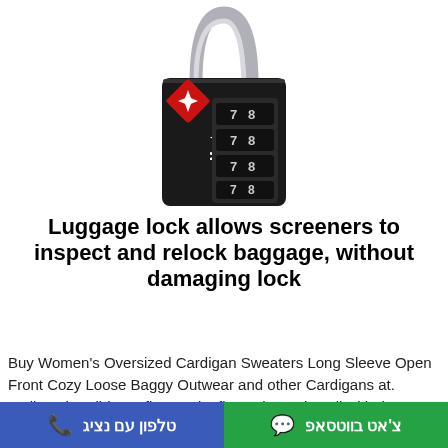[Figure (photo): Black Master Lock combination padlock with a steel shackle. The lock body is black with the Master brand name in white vertical text. It has four combination dials showing numbers 7 and 8. A red diamond-shaped TSA logo is on the top front.]
Luggage lock allows screeners to inspect and relock baggage, without damaging lock
Buy Women's Oversized Cardigan Sweaters Long Sleeve Open Front Cozy Loose Baggy Outwear and other Cardigans at. Styling Tip: Slide-on flats and a floppy hat pair well with the
טלפון עם נציג | צ'אט בווטסאפ